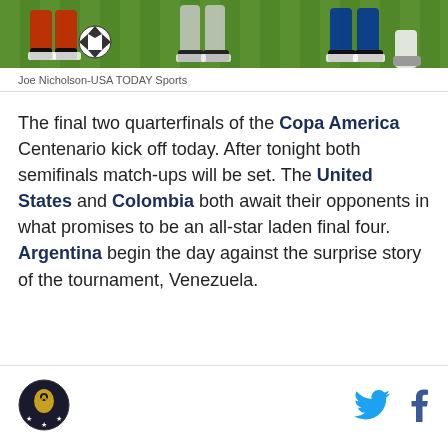[Figure (photo): Soccer/football players' feet and legs on a green grass field with a ball, cropped strip photo]
Joe Nicholson-USA TODAY Sports
The final two quarterfinals of the Copa America Centenario kick off today. After tonight both semifinals match-ups will be set. The United States and Colombia both await their opponents in what promises to be an all-star laden final four. Argentina begin the day against the surprise story of the tournament, Venezuela.
[Figure (logo): Circular sports logo in footer, dark background with eagle/hawk emblem]
[Figure (logo): Twitter bird icon]
[Figure (logo): Facebook f icon]